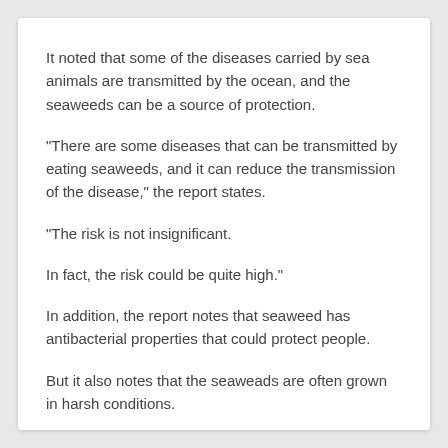It noted that some of the diseases carried by sea animals are transmitted by the ocean, and the seaweeds can be a source of protection.
"There are some diseases that can be transmitted by eating seaweeds, and it can reduce the transmission of the disease," the report states.
"The risk is not insignificant.
In fact, the risk could be quite high."
In addition, the report notes that seaweed has antibacterial properties that could protect people.
But it also notes that the seaweads are often grown in harsh conditions.